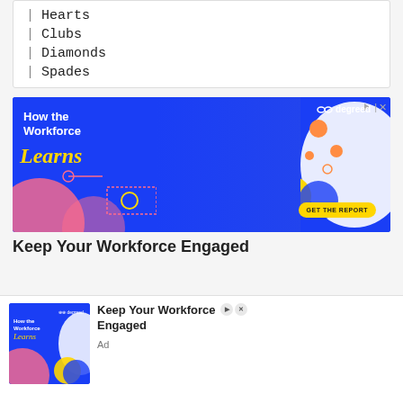| Hearts
| Clubs
| Diamonds
| Spades
[Figure (photo): Advertisement banner for Degreed showing 'How the Workforce Learns' with a woman holding a phone and tablet, blue background with decorative graphics and a 'GET THE REPORT' button.]
Keep Your Workforce Engaged
[Figure (photo): Smaller popup advertisement thumbnail for Degreed 'How the Workforce Learns' campaign with woman in blue background]
Keep Your Workforce Engaged
Ad